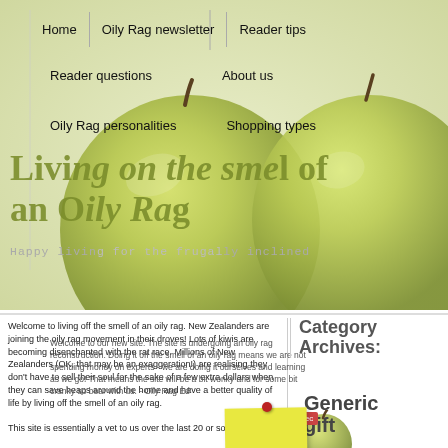[Figure (photo): Two green apples on a light background forming the website header image]
Home | Oily Rag newsletter | Reader tips
Reader questions | About us
Oily Rag personalities | Shopping types
Living off the smell of an Oily Rag
Happy living for the frugally inclined
Welcome to living off the smell of an oily rag. New Zealanders are joining the oily rag movement in their droves! Lots of kiwis are becoming disenchanted with the rat race. Millions of New Zealanders (OK, that may be an exaggeration!) are realising they don't have to sell their soul for the sake of a few extra dollars when they can save heaps around the home and have a better quality of life by living off the smell of an oily rag.
This site is essentially a ve... t to us over the last 20 or so ye... at
Welcome to our new site. The site is undergoing an oily rag reconstruction. Doing it off the smell of an oily rag means we are not spending money on experts - we are doing it ourselves and learning as we go! That means the site will be a bit wonky and for some bit cranky so bear with us. - Oily Rag Ed'
Category Archives:
Generic gift
Dec